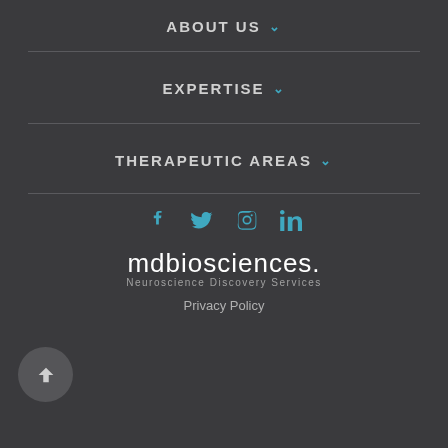ABOUT US ▾
EXPERTISE ▾
THERAPEUTIC AREAS ▾
[Figure (infographic): Social media icons: Facebook, Twitter, Instagram, LinkedIn in teal/cyan color]
[Figure (logo): mdbiosciences. logo with subtitle 'Neuroscience Discovery Services']
Privacy Policy